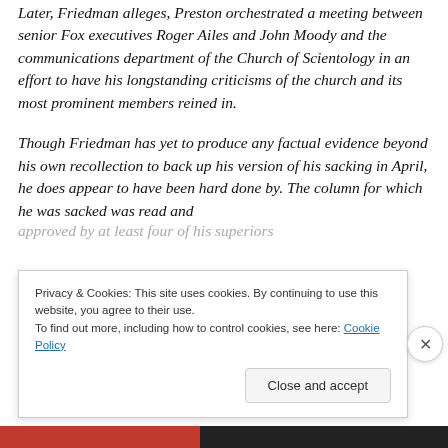Later, Friedman alleges, Preston orchestrated a meeting between senior Fox executives Roger Ailes and John Moody and the communications department of the Church of Scientology in an effort to have his longstanding criticisms of the church and its most prominent members reined in.
Though Friedman has yet to produce any factual evidence beyond his own recollection to back up his version of his sacking in April, he does appear to have been hard done by. The column for which he was sacked was read and approved by at least four of his superiors
Privacy & Cookies: This site uses cookies. By continuing to use this website, you agree to their use.
To find out more, including how to control cookies, see here: Cookie Policy